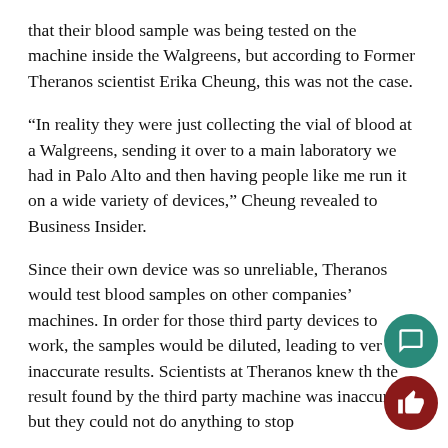that their blood sample was being tested on the machine inside the Walgreens, but according to Former Theranos scientist Erika Cheung, this was not the case.
“In reality they were just collecting the vial of blood at a Walgreens, sending it over to a main laboratory we had in Palo Alto and then having people like me run it on a wide variety of devices,” Cheung revealed to Business Insider.
Since their own device was so unreliable, Theranos would test blood samples on other companies’ machines. In order for those third party devices to work, the samples would be diluted, leading to very inaccurate results. Scientists at Theranos knew that the result found by the third party machine was inaccurate but they could not do anything to stop